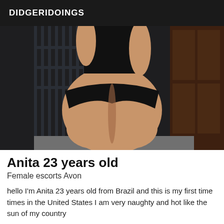DIDGERIDOINGS
[Figure (photo): A woman wearing a black swimsuit/bodysuit, photographed from behind, standing in front of a dark iron fence and wooden door.]
Anita 23 years old
Female escorts Avon
hello I'm Anita 23 years old from Brazil and this is my first time times in the United States I am very naughty and hot like the sun of my country